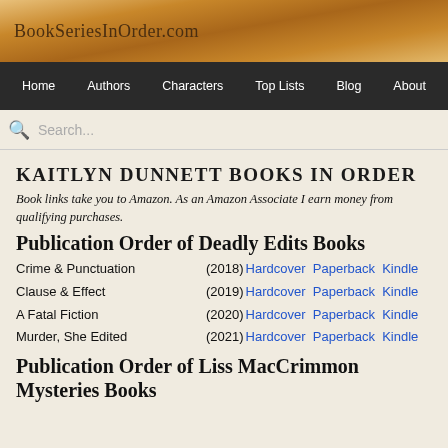BookSeriesInOrder.com
Home | Authors | Characters | Top Lists | Blog | About
Search...
KAITLYN DUNNETT BOOKS IN ORDER
Book links take you to Amazon. As an Amazon Associate I earn money from qualifying purchases.
Publication Order of Deadly Edits Books
Crime & Punctuation (2018) Hardcover Paperback Kindle
Clause & Effect (2019) Hardcover Paperback Kindle
A Fatal Fiction (2020) Hardcover Paperback Kindle
Murder, She Edited (2021) Hardcover Paperback Kindle
Publication Order of Liss MacCrimmon Mysteries Books